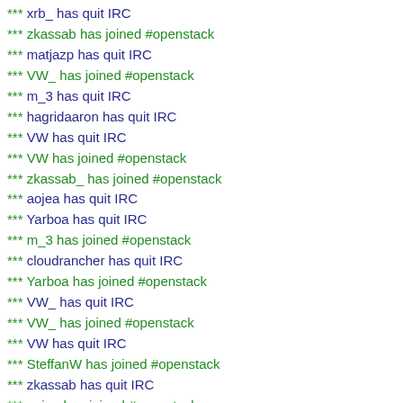*** xrb_ has quit IRC
*** zkassab has joined #openstack
*** matjazp has quit IRC
*** VW_ has joined #openstack
*** m_3 has quit IRC
*** hagridaaron has quit IRC
*** VW has quit IRC
*** VW has joined #openstack
*** zkassab_ has joined #openstack
*** aojea has quit IRC
*** Yarboa has quit IRC
*** m_3 has joined #openstack
*** cloudrancher has quit IRC
*** Yarboa has joined #openstack
*** VW_ has quit IRC
*** VW_ has joined #openstack
*** VW has quit IRC
*** SteffanW has joined #openstack
*** zkassab has quit IRC
*** aojea has joined #openstack
*** jmlowe has quit IRC
*** cloudrancher has joined #openstack
*** linuxaddicts has joined #openstack